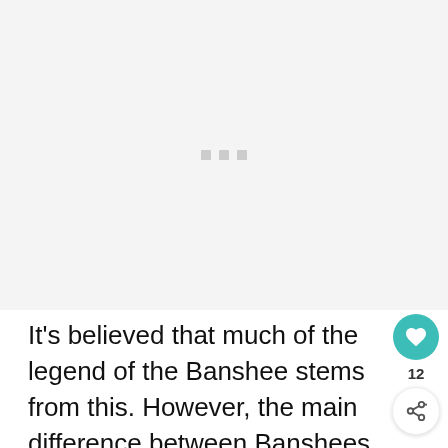[Figure (other): Advertisement placeholder area with three small grey squares/dots centered in a light grey rectangular region]
It's believed that much of the legend of the Banshee stems from this. However, the main difference between Banshees and Keening women is that the Banshees can predict death,